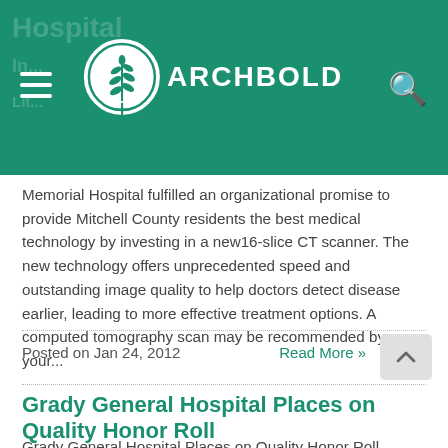ARCHBOLD
Memorial Hospital fulfilled an organizational promise to provide Mitchell County residents the best medical technology by investing in a new16-slice CT scanner. The new technology offers unprecedented speed and outstanding image quality to help doctors detect disease earlier, leading to more effective treatment options. A computed tomography scan may be recommended by your...
Posted on Jan 24, 2012
Read More »
Grady General Hospital Places on Quality Honor Roll
Grady General Hospital Places on Quality Honor Roll Thursday,